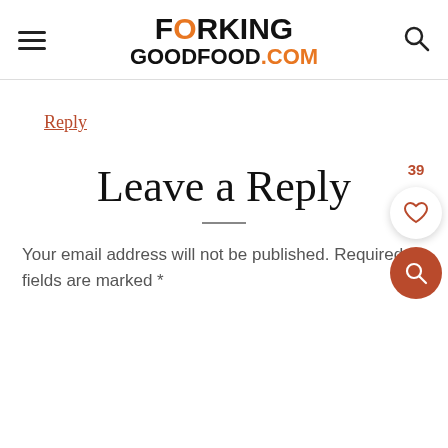FORKING GOODFOOD.COM
Reply
Leave a Reply
Your email address will not be published. Required fields are marked *